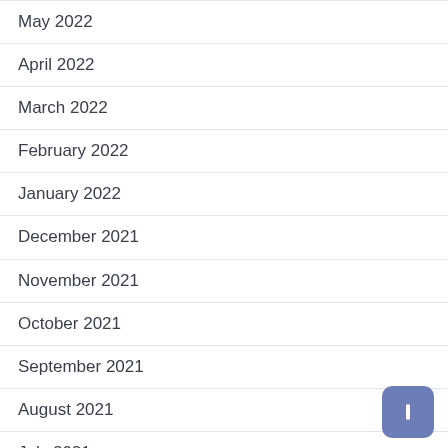May 2022
April 2022
March 2022
February 2022
January 2022
December 2021
November 2021
October 2021
September 2021
August 2021
July 2021
June 2021
April 2021
December 2020